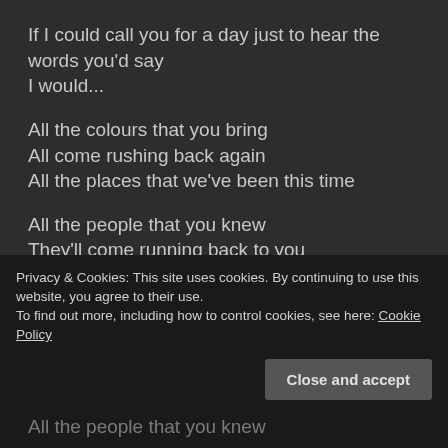If I could call you for a day just to hear the words you'd say
I would...
All the colours that you bring
All come rushing back again
All the places that we've been this time
All the people that you knew
They'll come running back to you
All the faces that we've seen in this life...
The river flows
Privacy & Cookies: This site uses cookies. By continuing to use this website, you agree to their use.
To find out more, including how to control cookies, see here: Cookie Policy
All the people that you knew